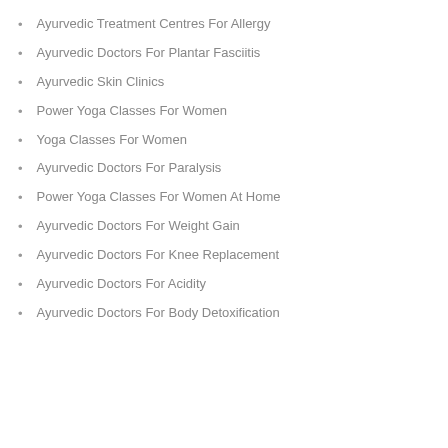Ayurvedic Treatment Centres For Allergy
Ayurvedic Doctors For Plantar Fasciitis
Ayurvedic Skin Clinics
Power Yoga Classes For Women
Yoga Classes For Women
Ayurvedic Doctors For Paralysis
Power Yoga Classes For Women At Home
Ayurvedic Doctors For Weight Gain
Ayurvedic Doctors For Knee Replacement
Ayurvedic Doctors For Acidity
Ayurvedic Doctors For Body Detoxification